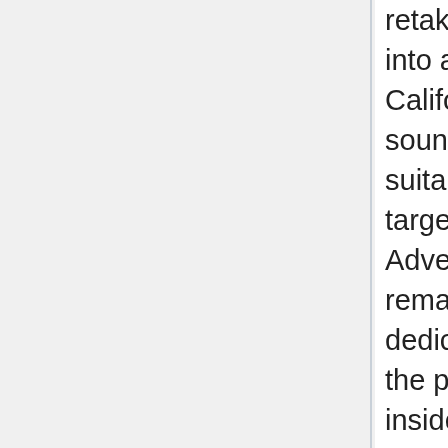retake the examination. Turning into a mortgage officer in California is not as arduous as it sounds when you follow the suitable steps and remain targeted on your targets. 1. Email Advertising is a good way to remain in touch. Relying in your dedication, you possibly can meet the prelicensing necessities inside a number of months. Is being a mortgage loan officer hard? How a lot commission does a mortgage mortgage officer make? If you have any concerns pertaining to where by and how to use mortgage loan calculator; journeytoshaolintemple.com,, you can get hold of us at the web-page. How do mortgage officers get clients? How troublesome is the NMLS Secure Act exam? mortgage company in santa ana california officers typically need a